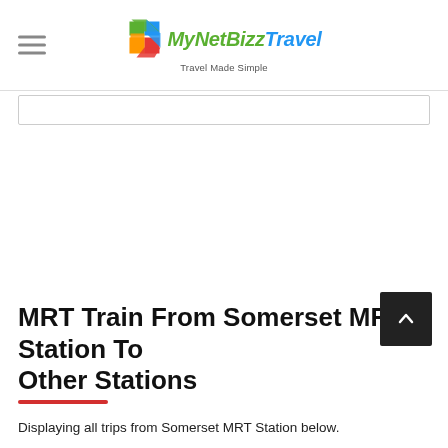MyNetBizz Travel - Travel Made Simple
MRT Train From Somerset MRT Station To Other Stations
Displaying all trips from Somerset MRT Station below.